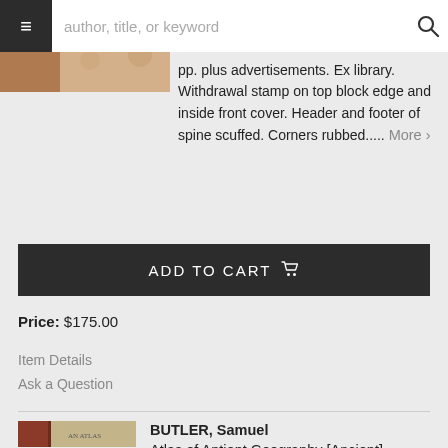author, title, or keyword
pp. plus advertisements. Ex library. Withdrawal stamp on top block edge and inside front cover. Header and footer of spine scuffed. Corners rubbed..... More >
ADD TO CART
Price: $175.00
Item Details
Ask a Question
BUTLER, Samuel
Atlas of Antient Geography [Ancient]